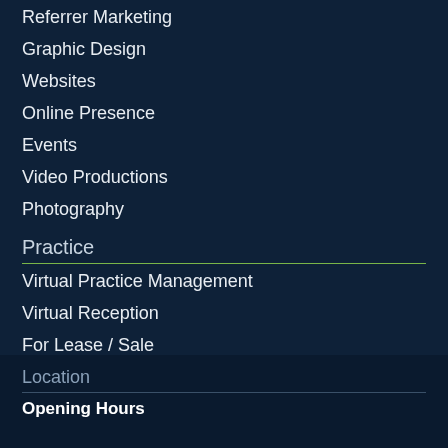Referrer Marketing
Graphic Design
Websites
Online Presence
Events
Video Productions
Photography
Practice
Virtual Practice Management
Virtual Reception
For Lease / Sale
Location
Opening Hours